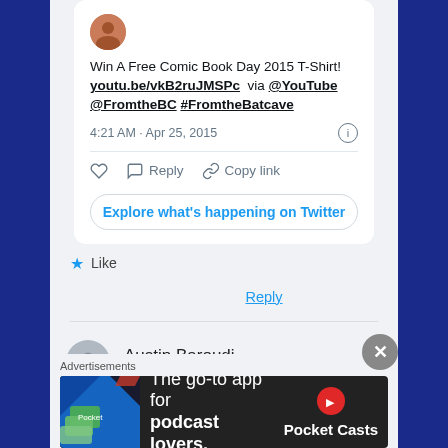[Figure (screenshot): Tweet card showing: 'Win A Free Comic Book Day 2015 T-Shirt! youtu.be/vkB2ruJMSPc via @YouTube @FromtheBC #FromtheBatcave' posted at 4:21 AM · Apr 25, 2015, with like, reply, copy link actions and Explore what's happening on Twitter button]
Like
Reply
Austin Baroudi
[Figure (infographic): Advertisement bar: Advertisements label, Pocket Casts ad - 'The go-to app for podcast lovers.']